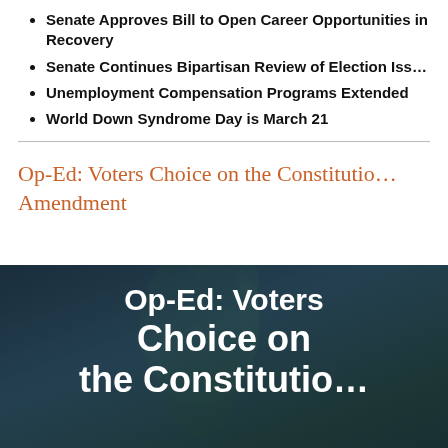Senate Approves Bill to Open Career Opportunities in Recovery
Senate Continues Bipartisan Review of Election Issues
Unemployment Compensation Programs Extended
World Down Syndrome Day is March 21
Op-Ed: Voters Choice on the Constitutional Amendment
[Figure (photo): Dark navy/teal background image showing Statue of Liberty silhouette with bold white text overlay reading 'Op-Ed: Voters Choice on the Constitutional']